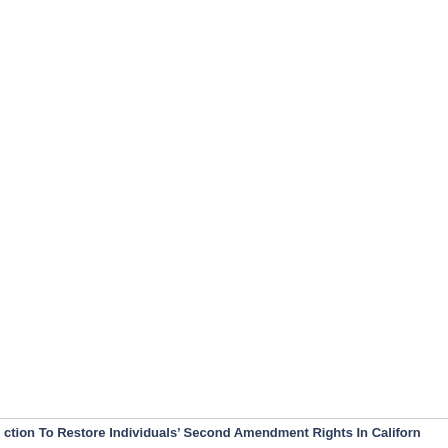ction To Restore Individuals' Second Amendment Rights In California